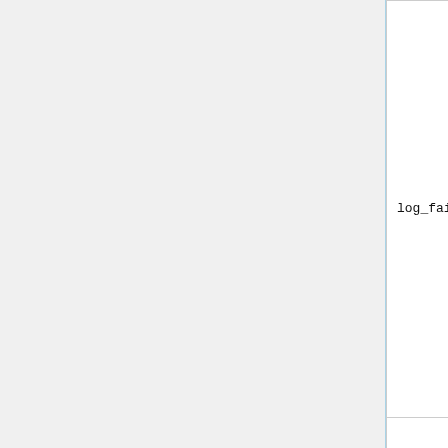| Parameter | Default | Description |
| --- | --- | --- |
| log_failure 1 | ON | Enables or disables logging of jail expansion failures. The information is logged to the file defined in log_cpud_f... |
| log_gov 1 | ON | Enables or disables logging of governor activities. The information is logged to the file defined in log_gov_file... |
|  |  | Enables or disables logging of the number of users in jail... |